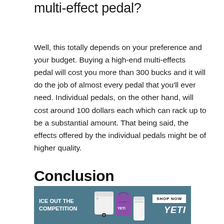multi-effect pedal?
Well, this totally depends on your preference and your budget. Buying a high-end multi-effects pedal will cost you more than 300 bucks and it will do the job of almost every pedal that you'll ever need. Individual pedals, on the other hand, will cost around 100 dollars each which can rack up to be a substantial amount. That being said, the effects offered by the individual pedals might be of higher quality.
Conclusion
[Figure (other): Advertisement banner for YETI with text 'ICE OUT THE COMPETITION' and a SHOP NOW button, showing YETI products (cooler, bag, cup) on a teal/slate blue background]